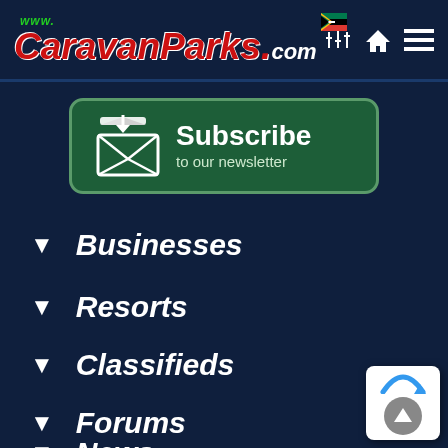www.CaravanParks.com
[Figure (illustration): Subscribe to our newsletter button with envelope icon on dark green rounded rectangle]
▼ Businesses
▼ Resorts
▼ Classifieds
▼ Forums
▼ News